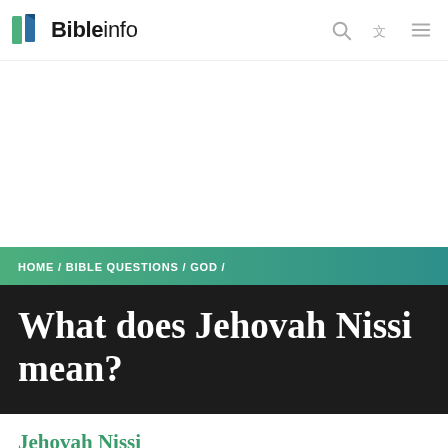Bibleinfo
[Figure (screenshot): Large white advertisement area]
HOME / BIBLE QUESTIONS / GOD /
What does Jehovah Nissi mean?
Jehovah Nissi
Jehovah Nissi means “The Lord Is My Banner.”